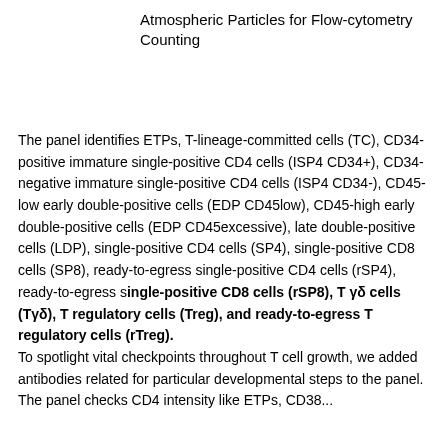Atmospheric Particles for Flow-cytometry Counting
The panel identifies ETPs, T-lineage-committed cells (TC), CD34-positive immature single-positive CD4 cells (ISP4 CD34+), CD34-negative immature single-positive CD4 cells (ISP4 CD34-), CD45-low early double-positive cells (EDP CD45low), CD45-high early double-positive cells (EDP CD45excessive), late double-positive cells (LDP), single-positive CD4 cells (SP4), single-positive CD8 cells (SP8), ready-to-egress single-positive CD4 cells (rSP4), ready-to-egress single-positive CD8 cells (rSP8), T γδ cells (Tγδ), T regulatory cells (Treg), and ready-to-egress T regulatory cells (rTreg). To spotlight vital checkpoints throughout T cell growth, we added antibodies related for particular developmental steps to the panel. The panel checks CD4 intensity like ETPs, CD38...